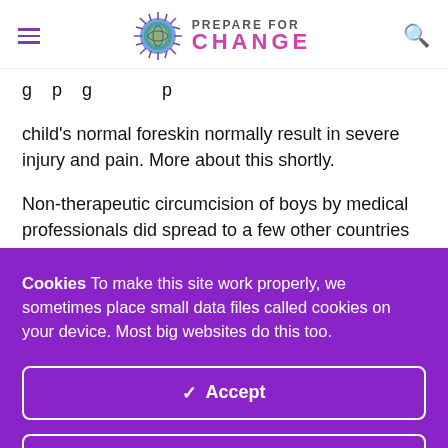PREPARE FOR CHANGE
child's normal foreskin normally result in severe injury and pain. More about this shortly.
Non-therapeutic circumcision of boys by medical professionals did spread to a few other countries — most of which have long rejected it on the grounds that it is
Cookies To make this site work properly, we sometimes place small data files called cookies on your device. Most big websites do this too.
✓ Accept
Change Settings ⚙